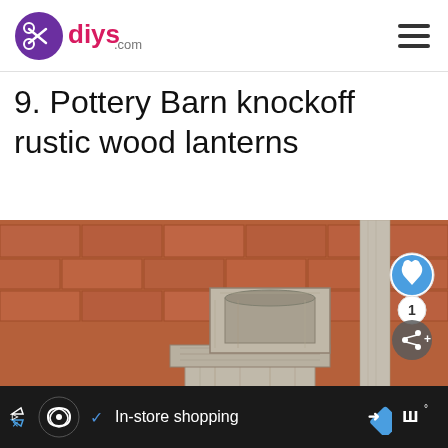diys.com
9. Pottery Barn knockoff rustic wood lanterns
[Figure (photo): Rustic gray weathered wood lantern box sitting on top of a taller wooden post/pedestal, displayed against a red brick wall background. Small thumbnail inset showing 'WHAT'S NEXT → DIY Ideas for Scandinavia...' with a like button (heart icon, count 1) and a share icon overlay on the photo.]
In-store shopping